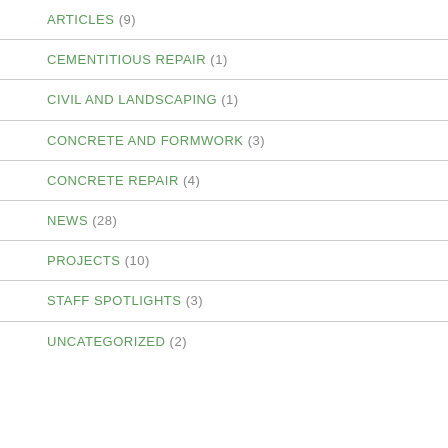ARTICLES (9)
CEMENTITIOUS REPAIR (1)
CIVIL AND LANDSCAPING (1)
CONCRETE AND FORMWORK (3)
CONCRETE REPAIR (4)
NEWS (28)
PROJECTS (10)
STAFF SPOTLIGHTS (3)
UNCATEGORIZED (2)